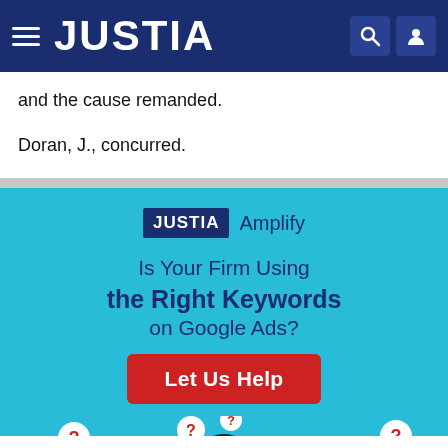JUSTIA
and the cause remanded.
Doran, J., concurred.
[Figure (infographic): Justia Amplify advertisement: 'Is Your Firm Using the Right Keywords on Google Ads?' with a red Let Us Help button and illustration of three people with question mark speech bubbles on a light blue background.]